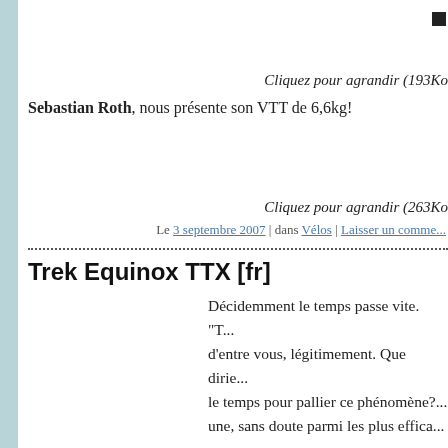[Figure (other): Small black square icon, image placeholder, top right area]
Cliquez pour agrandir (193Ko
Sebastian Roth, nous présente son VTT de 6,6kg!
[Figure (other): Small black square icon, second image placeholder]
Cliquez pour agrandir (263Ko
Le 3 septembre 2007 | dans Vélos | Laisser un comme...
Trek Equinox TTX [fr]
Décidemment le temps passe vite. "T... d'entre vous, légitimement. Que dirie... le temps pour pallier ce phénomène?... une, sans doute parmi les plus effica...